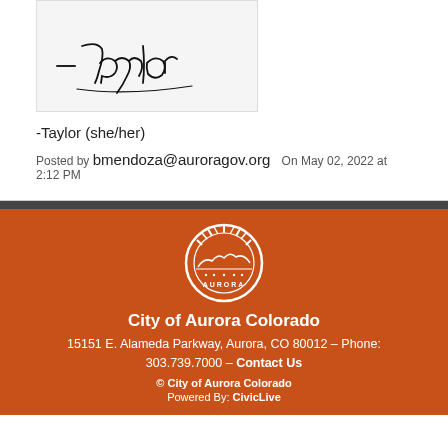[Figure (illustration): Handwritten cursive signature reading '- Taylor' on a light gray background]
-Taylor (she/her)
Posted by bmendoza@auroragov.org  On May 02, 2022 at 2:12 PM
[Figure (logo): City of Aurora Colorado circular seal/logo in white on orange background]
City of Aurora Colorado
15151 E. Alameda Parkway, Aurora, CO 80012 – Phone: 303.739.7000 – Contact Us
© City of Aurora Colorado
Powered By: CivicLive